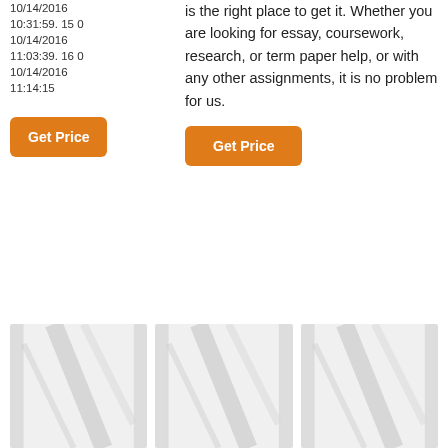10/14/2016 10:31:59. 15 0
10/14/2016 11:03:39. 16 0
10/14/2016 11:14:15
Get Price
is the right place to get it. Whether you are looking for essay, coursework, research, or term paper help, or with any other assignments, it is no problem for us.
Get Price
[Figure (photo): Three side-by-side photos of white paper/fabric texture with diagonal fold lines]
[Figure (photo): White paper/fabric texture with diagonal fold lines - second image]
[Figure (photo): White paper/fabric texture with diagonal fold lines - third image]